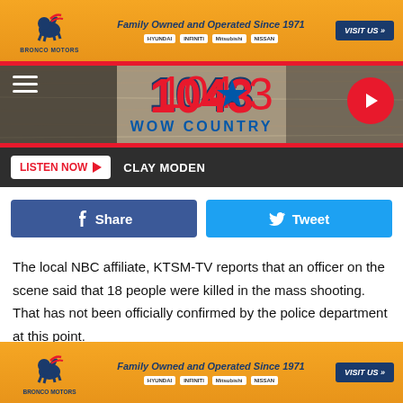[Figure (screenshot): Bronco Motors advertisement banner: orange gradient background, horse logo, 'Family Owned and Operated Since 1971', car brand logos (Hyundai, Infiniti, Mitsubishi, Nissan), 'VISIT US' button]
[Figure (logo): 104.3 WOW COUNTRY radio station header with wood background texture, hamburger menu icon, play button]
LISTEN NOW ▶  CLAY MODEN
[Figure (infographic): Facebook Share button (blue) and Twitter Tweet button (light blue) side by side]
The local NBC affiliate, KTSM-TV reports that an officer on the scene said that 18 people were killed in the mass shooting. That has not been officially confirmed by the police department at this point.
The Cielo Vista Mall is a large shopping center with more than 130 stores, and it is likely that it was busy with Saturday shoppers. Video shared on social media showed shoppers
[Figure (screenshot): Bronco Motors advertisement banner bottom: same as top banner]